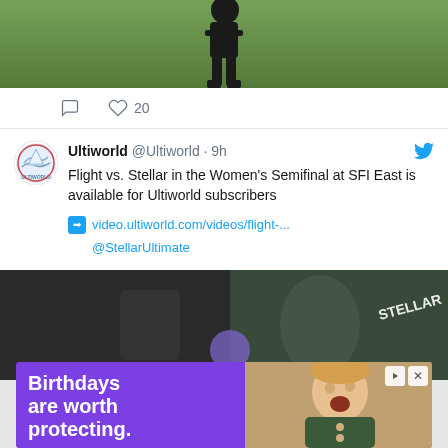[Figure (photo): Sports photo showing a player in black uniform on green grass field, partially cropped at top]
♡ 20
[Figure (photo): Ultiworld avatar logo - circular badge with mountain/globe design]
Ultiworld @Ultiworld · 9h
Flight vs. Stellar in the Women's Semifinal at SFI East is available for Ultiworld subscribers
➡ video.ultiworld.com/videos/flight-...
@StellarUltimate
[Figure (photo): Thumbnail image showing Stellar Ultimate team, dark background with STELLAR text visible]
[Figure (photo): Advertisement: Birthdays are worth protecting. Shows child with excited expression on purple background.]